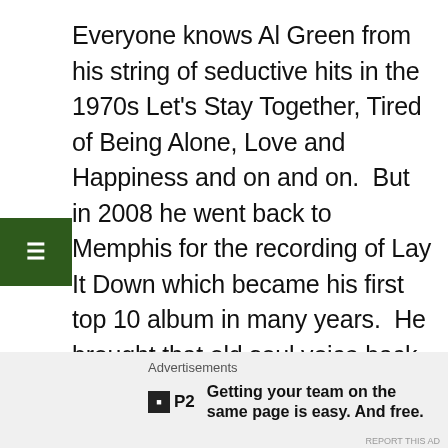Everyone knows Al Green from his string of seductive hits in the 1970s Let's Stay Together, Tired of Being Alone, Love and Happiness and on and on. But in 2008 he went back to Memphis for the recording of Lay It Down which became his first top 10 album in many years. He brought that old soul voice back and laid down some his best tracks ever with a hand from Questlove” as producer. He also featured Anthony Hamilton, John Legend and Corinne Bailey Rae as guest artists. This cut was number 15 on Rolling Stone’s list of the 100 Best Songs of 2008.
Advertisements
Getting your team on the same page is easy. And free.